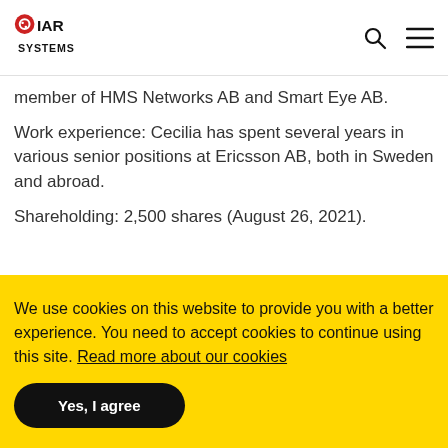IAR Systems
member of HMS Networks AB and Smart Eye AB.
Work experience: Cecilia has spent several years in various senior positions at Ericsson AB, both in Sweden and abroad.
Shareholding: 2,500 shares (August 26, 2021).
We use cookies on this website to provide you with a better experience. You need to accept cookies to continue using this site. Read more about our cookies
Yes, I agree